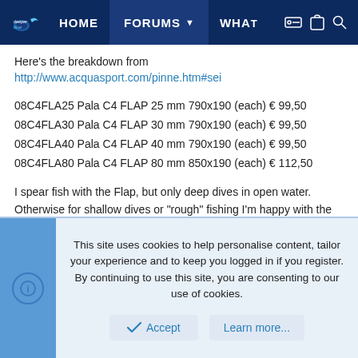deeper blue | HOME | FORUMS | WHAT
Here's the breakdown from http://www.acquasport.com/pinne.htm#sei
08C4FLA25 Pala C4 FLAP 25 mm 790x190 (each) € 99,50
08C4FLA30 Pala C4 FLAP 30 mm 790x190 (each) € 99,50
08C4FLA40 Pala C4 FLAP 40 mm 790x190 (each) € 99,50
08C4FLA80 Pala C4 FLAP 80 mm 850x190 (each) € 112,50
I spear fish with the Flap, but only deep dives in open water. Otherwise for shallow dives or "rough" fishing I'm happy with the very confortable and indestructible Cressi 3000. I have no idea about durability, but the Flap look exactly like the Falcons (they just have an inverted V shape at the top), so I'd guess we're probably talking similar durability...
This site uses cookies to help personalise content, tailor your experience and to keep you logged in if you register.
By continuing to use this site, you are consenting to our use of cookies.